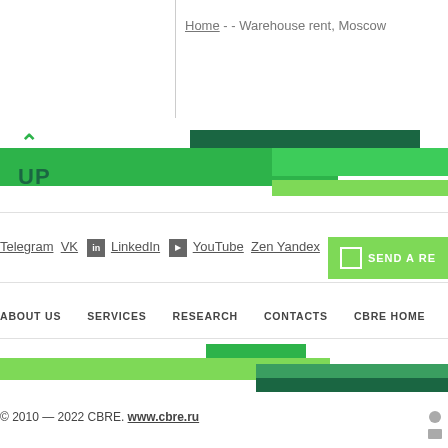Home - - Warehouse rent, Moscow
[Figure (infographic): Green decorative banner with UP arrow and label]
Telegram  VK  LinkedIn  YouTube  Zen Yandex  SEND A RE
ABOUT US  SERVICES  RESEARCH  CONTACTS  CBRE HOME
[Figure (infographic): Bottom decorative green bars]
© 2010 — 2022 CBRE. www.cbre.ru